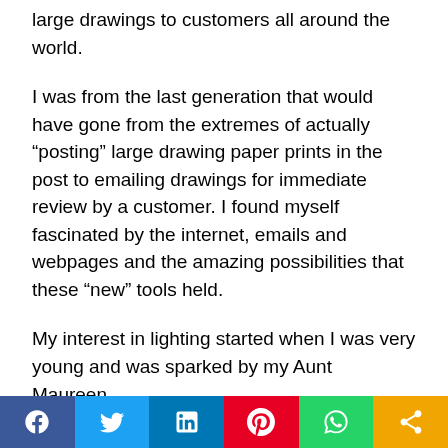large drawings to customers all around the world.
I was from the last generation that would have gone from the extremes of actually “posting” large drawing paper prints in the post to emailing drawings for immediate review by a customer. I found myself fascinated by the internet, emails and webpages and the amazing possibilities that these “new” tools held.
My interest in lighting started when I was very young and was sparked by my Aunt Maureen.
In the 1970s my Aunt worked at really “trendy” Central London department store called Heals of Tottenham Court Road.
During this late 1960s and 1970s period Heals had a wide
Social share bar: Facebook, Twitter, LinkedIn, Pinterest, WhatsApp, Share